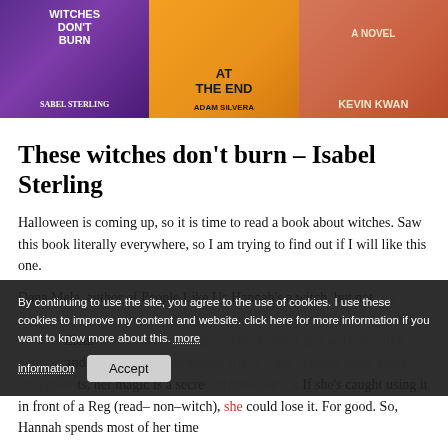[Figure (illustration): Three book covers side by side: 'These Witches Don't Burn' by Isabel Sterling (purple background), 'At The End' by Adam Silvera (orange background with potion bottle), and a novel by Kevin Kwan (salmon/terracotta background with illustrated woman in profile)]
These witches don't burn – Isabel Sterling
Halloween is coming up, so it is time to read a book about witches. Saw this book literally everywhere, so I am trying to find out if I will like this one.
Dana Mele, author of People Like Us Hannah's a witch, but not. By continuing to use the site, you agree to the use of cookies. I use Elem these cookies to improve my content and website. click here for and air. Bu more information if you want to know more about this. more ts, her magic is a secre information o k If she's caught using it in front of a Reg (read– non–witch), she could lose it. For good. So, Hannah spends most of her time
By continuing to use the site, you agree to the use of cookies. I use these cookies to improve my content and website. click here for more information if you want to know more about this. more information